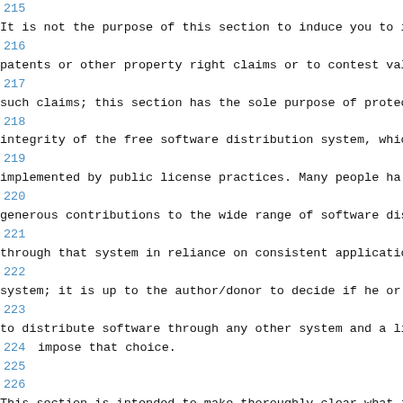215
It is not the purpose of this section to induce you to i
216
patents or other property right claims or to contest val
217
such claims; this section has the sole purpose of protec
218
integrity of the free software distribution system, whic
219
implemented by public license practices.  Many people ha
220
generous contributions to the wide range of software dis
221
through that system in reliance on consistent applicatio
222
system; it is up to the author/donor to decide if he or
223
to distribute software through any other system and a li
224 impose that choice.
225
226
This section is intended to make thoroughly clear what i
227 be a consequence of the rest of this License.
228 \f
229